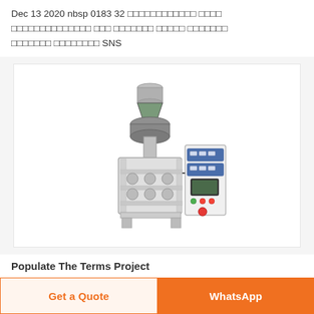Dec 13 2020 nbsp 0183 32 [unicode chars] [unicode chars] [unicode chars] [unicode chars] [unicode chars] [unicode chars] [unicode chars] [unicode chars] SNS
[Figure (photo): Industrial powder filling / packaging machine with auger filler on top, mechanical components, and a white control panel unit with display and buttons on the right side.]
Populate The Terms Project
Get a Quote
WhatsApp